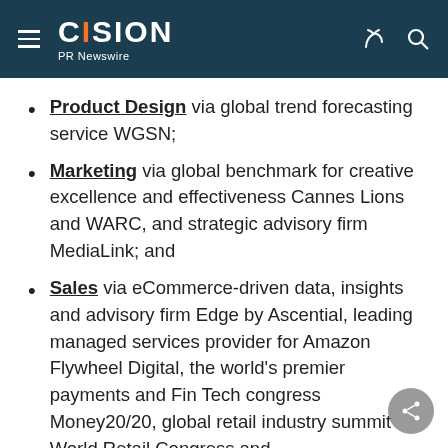CISION PR Newswire
Product Design via global trend forecasting service WGSN;
Marketing via global benchmark for creative excellence and effectiveness Cannes Lions and WARC, and strategic advisory firm MediaLink; and
Sales via eCommerce-driven data, insights and advisory firm Edge by Ascential, leading managed services provider for Amazon Flywheel Digital, the world's premier payments and Fin Tech congress Money20/20, global retail industry summit World Retail Congress and